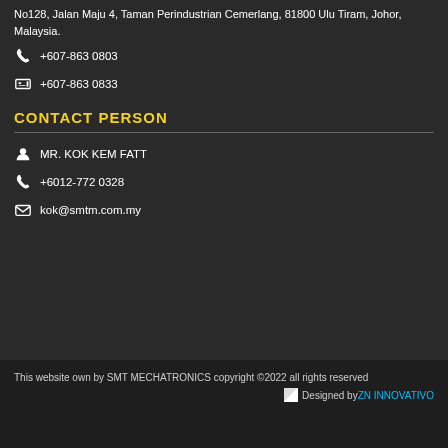No128, Jalan Maju 4, Taman Perindustrian Cemerlang, 81800 Ulu Tiram, Johor, Malaysia.
📞 +607-863 0803
🖨 +607-863 0833
CONTACT PERSON
👤 MR. KOK KEM FATT
📞 +6012-772 0328
✉ kok@smtm.com.my
This website own by SMT MECHATRONICS copyright ©2022 all rights reserved   Designed by ZN INNOVATIVO